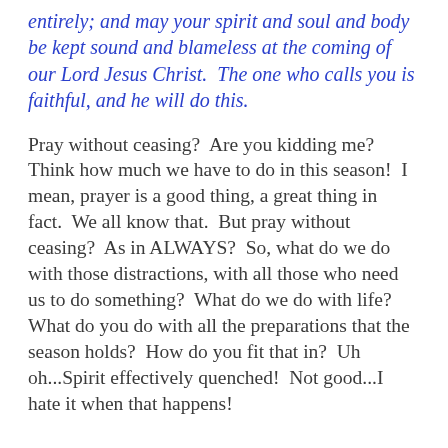entirely; and may your spirit and soul and body be kept sound and blameless at the coming of our Lord Jesus Christ.  The one who calls you is faithful, and he will do this.
Pray without ceasing?  Are you kidding me?  Think how much we have to do in this season!  I mean, prayer is a good thing, a great thing in fact.  We all know that.  But pray without ceasing?  As in ALWAYS?  So, what do we do with those distractions, with all those who need us to do something?  What do we do with life?  What do you do with all the preparations that the season holds?  How do you fit that in?  Uh oh...Spirit effectively quenched!  Not good...I hate it when that happens!